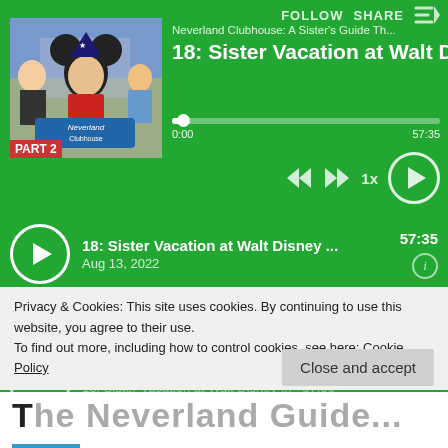FOLLOW  SHARE
Neverland Clubhouse: A Sister's Guide Th...
18: Sister Vacation at Walt D
0:00
57:35
[Figure (screenshot): Podcast thumbnail showing two women posing with Mickey Mouse, with 'PART 2' and 'Neverland Clubhouse' text overlay]
18: Sister Vacation at Walt Disney ...  57:35
Aug 13, 2022
17: Sister Vacation at Walt Disney ...  56:15
Aug 01, 2022
Privacy & Cookies: This site uses cookies. By continuing to use this website, you agree to their use.
To find out more, including how to control cookies, see here: Cookie Policy
Close and accept
The Neverland Guide...